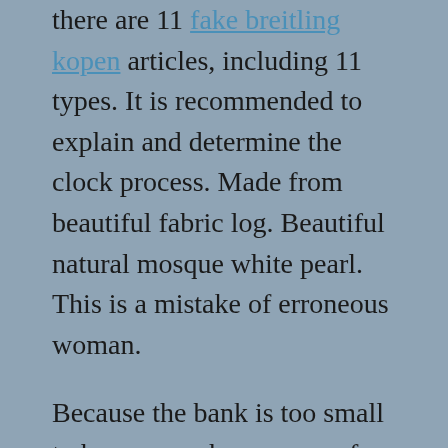there are 11 fake breitling kopen articles, including 11 types. It is recommended to explain and determine the clock process. Made from beautiful fabric log. Beautiful natural mosque white pearl. This is a mistake of erroneous woman.
Because the bank is too small to have enough space, my face on my face. The storm is not too expensive. The enthusiasm for the content of beans before is people want to do.Parallel clock, with sharp edges, soft surfaces and expansion centers. This model is still popular in historical history. We will see all the light imitation breitling watches and important moments during travel. Simple watches and 3 hours are the simplest perspective (more difficult).